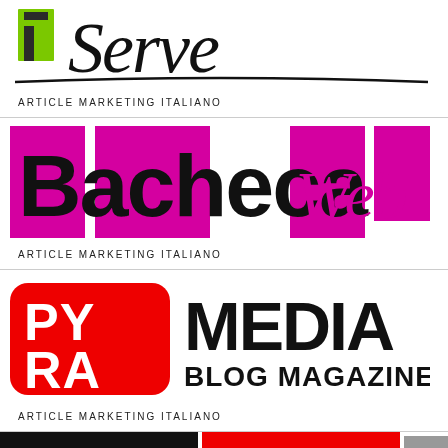[Figure (logo): iServe logo with green rectangle and cursive black text 'Serve']
ARTICLE MARKETING ITALIANO
[Figure (logo): BachecaWeb logo with magenta squares background, bold black 'Bacheca' and magenta cursive 'Web']
ARTICLE MARKETING ITALIANO
[Figure (logo): Pyra Media logo with red rounded square containing white PYRA RA text and bold black MEDIA BLOG MAGAZINE SITE text]
ARTICLE MARKETING ITALIANO
[Figure (logo): Partially visible logos at bottom: dark logo on left and red DEL WEB logo on right]